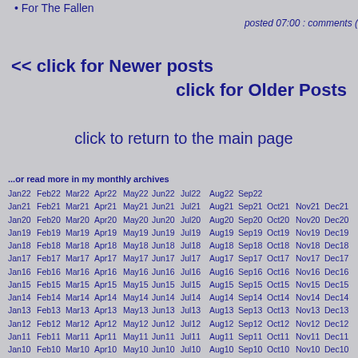For The Fallen
posted 07:00 : comments (
<< click for Newer posts
click for Older Posts
click to return to the main page
...or read more in my monthly archives
Jan22 Feb22 Mar22 Apr22 May22 Jun22 Jul22 Aug22 Sep22
Jan21 Feb21 Mar21 Apr21 May21 Jun21 Jul21 Aug21 Sep21 Oct21 Nov21 Dec21
Jan20 Feb20 Mar20 Apr20 May20 Jun20 Jul20 Aug20 Sep20 Oct20 Nov20 Dec20
Jan19 Feb19 Mar19 Apr19 May19 Jun19 Jul19 Aug19 Sep19 Oct19 Nov19 Dec19
Jan18 Feb18 Mar18 Apr18 May18 Jun18 Jul18 Aug18 Sep18 Oct18 Nov18 Dec18
Jan17 Feb17 Mar17 Apr17 May17 Jun17 Jul17 Aug17 Sep17 Oct17 Nov17 Dec17
Jan16 Feb16 Mar16 Apr16 May16 Jun16 Jul16 Aug16 Sep16 Oct16 Nov16 Dec16
Jan15 Feb15 Mar15 Apr15 May15 Jun15 Jul15 Aug15 Sep15 Oct15 Nov15 Dec15
Jan14 Feb14 Mar14 Apr14 May14 Jun14 Jul14 Aug14 Sep14 Oct14 Nov14 Dec14
Jan13 Feb13 Mar13 Apr13 May13 Jun13 Jul13 Aug13 Sep13 Oct13 Nov13 Dec13
Jan12 Feb12 Mar12 Apr12 May12 Jun12 Jul12 Aug12 Sep12 Oct12 Nov12 Dec12
Jan11 Feb11 Mar11 Apr11 May11 Jun11 Jul11 Aug11 Sep11 Oct11 Nov11 Dec11
Jan10 Feb10 Mar10 Apr10 May10 Jun10 Jul10 Aug10 Sep10 Oct10 Nov10 Dec10